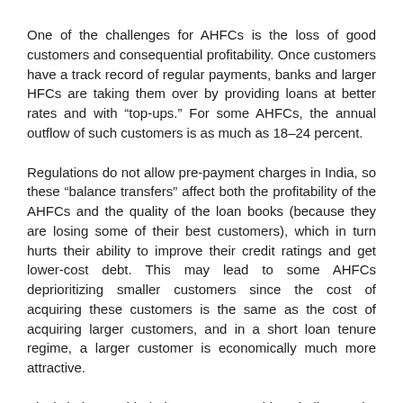One of the challenges for AHFCs is the loss of good customers and consequential profitability. Once customers have a track record of regular payments, banks and larger HFCs are taking them over by providing loans at better rates and with “top-ups.” For some AHFCs, the annual outflow of such customers is as much as 18–24 percent.
Regulations do not allow pre-payment charges in India, so these “balance transfers” affect both the profitability of the AHFCs and the quality of the loan books (because they are losing some of their best customers), which in turn hurts their ability to improve their credit ratings and get lower-cost debt. This may lead to some AHFCs deprioritizing smaller customers since the cost of acquiring these customers is the same as the cost of acquiring larger customers, and in a short loan tenure regime, a larger customer is economically much more attractive.
Blockchain could help overcome this challenge by reducing the overall cost of the acquiring customer as well as speeding up the transaction time.